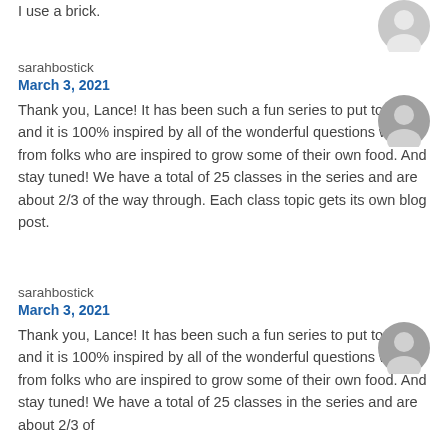I use a brick.
[Figure (illustration): Gray user avatar icon (circle with person silhouette), top right]
sarahbostick
March 3, 2021
Thank you, Lance! It has been such a fun series to put together and it is 100% inspired by all of the wonderful questions we get from folks who are inspired to grow some of their own food. And stay tuned! We have a total of 25 classes in the series and are about 2/3 of the way through. Each class topic gets its own blog post.
[Figure (illustration): Gray user avatar icon (circle with person silhouette), right side]
sarahbostick
March 3, 2021
Thank you, Lance! It has been such a fun series to put together and it is 100% inspired by all of the wonderful questions we get from folks who are inspired to grow some of their own food. And stay tuned! We have a total of 25 classes in the series and are about 2/3 of the way through. Each class topic gets its own blog post.
[Figure (illustration): Gray user avatar icon (circle with person silhouette), right side second comment]